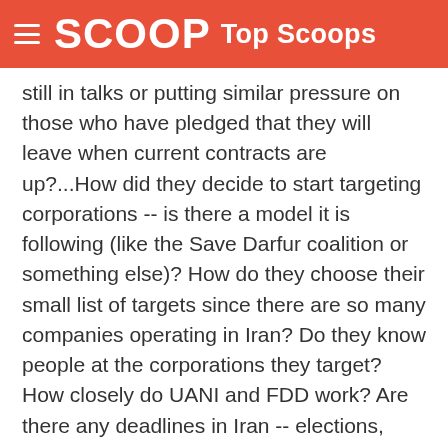SCOOP Top Scoops
still in talks or putting similar pressure on those who have pledged that they will leave when current contracts are up?...How did they decide to start targeting corporations -- is there a model it is following (like the Save Darfur coalition or something else)? How do they choose their small list of targets since there are so many companies operating in Iran? Do they know people at the corporations they target? How closely do UANI and FDD work? Are there any deadlines in Iran -- elections, feared nuke tests, coming deaths of really sick clerics, etc., that requires FDD and UANI show progress quickly?"
“As for the Marc Rich case, former federal prosecutor